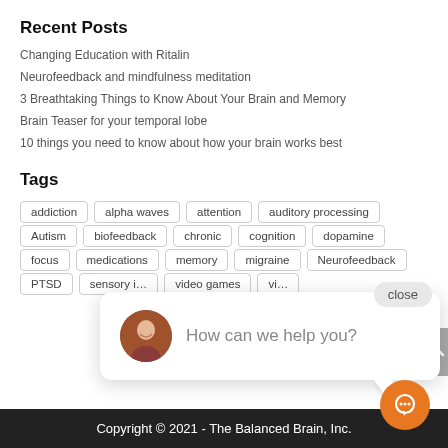Recent Posts
Changing Education with Ritalin
Neurofeedback and mindfulness meditation
3 Breathtaking Things to Know About Your Brain and Memory
Brain Teaser for your temporal lobe
10 things you need to know about how your brain works best
Tags
addiction
alpha waves
attention
auditory processing
Autism
biofeedback
chronic
cognition
dopamine
focus
medications
memory
migraine
Neurofeedback
PTSD
sensory i...
video games
vi...
[Figure (screenshot): Chat popup with avatar and text 'How can we help you?' and a close button]
Copyright © 2021 - The Balanced Brain, Inc.